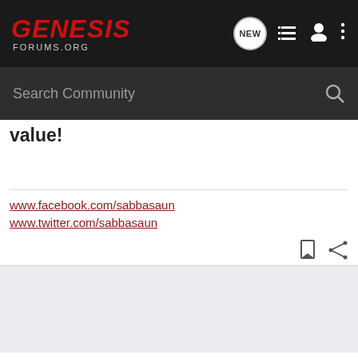GENESIS FORUMS.ORG — navigation header with NEW, list, user, and menu icons
Search Community
value!
www.facebook.com/sabbasaun
www.twitter.com/sabbasaun